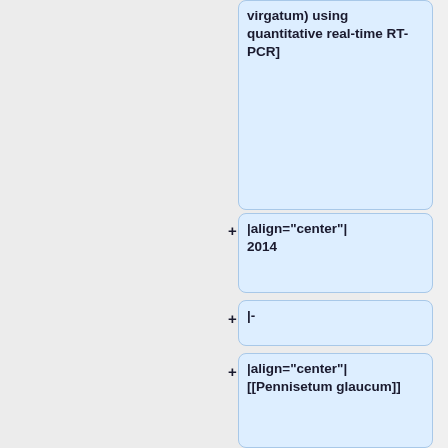virgatum) using quantitative real-time RT-PCR]
|align="center"| 2014
|-
|align="center"| [[Pennisetum glaucum]]
|align="center"| Eukaryotic initiation factor 4A
||
*"'Different Tissues & Genotypes"'